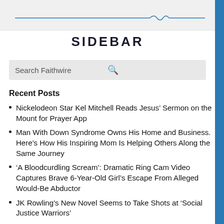SIDEBAR
Search Faithwire
Recent Posts
Nickelodeon Star Kel Mitchell Reads Jesus’ Sermon on the Mount for Prayer App
Man With Down Syndrome Owns His Home and Business. Here’s How His Inspiring Mom Is Helping Others Along the Same Journey
‘A Bloodcurdling Scream’: Dramatic Ring Cam Video Captures Brave 6-Year-Old Girl’s Escape From Alleged Would-Be Abductor
JK Rowling’s New Novel Seems to Take Shots at ‘Social Justice Warriors’
PRAY: Christian Woman Reportedly Murdered by